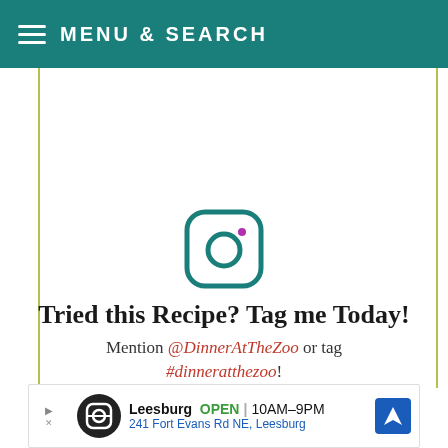MENU & SEARCH
[Figure (logo): Instagram camera icon in teal/dark teal color]
Tried this Recipe? Tag me Today!
Mention @DinnerAtTheZoo or tag #dinneratthezoo!
[Figure (other): Advertisement banner for Leesburg store: OPEN 10AM-9PM, 241 Fort Evans Rd NE, Leesburg]